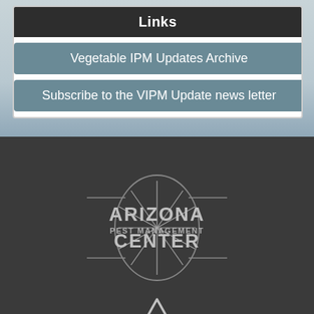Links
Vegetable IPM Updates Archive
Subscribe to the VIPM Update news letter
[Figure (logo): Arizona Pest Management Center logo with starburst oval emblem and text ARIZONA PEST MANAGEMENT CENTER]
[Figure (logo): University of Arizona block A logo mark]